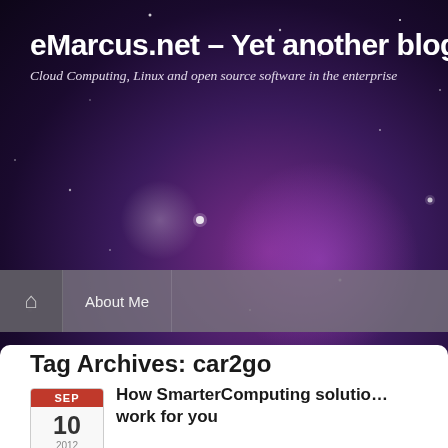eMarcus.net – Yet another blog about Cloud Computing, Linux and open source software in the enterprise
[Figure (screenshot): Navigation bar with home icon and About Me link on dark purple starry background]
Tag Archives: car2go
How SmarterComputing solutions work for you
Last Saturday I finally registered my membership for car2go. You might Smart-cars in selected cities. Car2go basically is a car sharing offering about it is the full integration with SmarterComputing and cloud technology me as a member.
I have to admit that my curiosity about how they managed to bring all